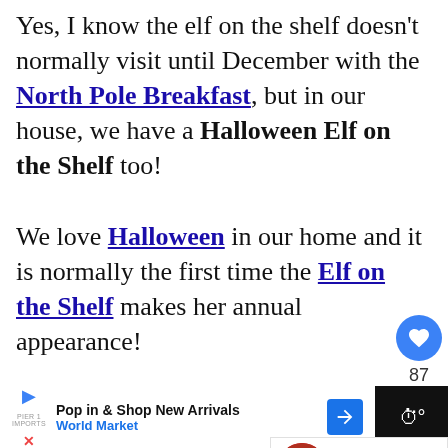Yes, I know the elf on the shelf doesn't normally visit until December with the North Pole Breakfast, but in our house, we have a Halloween Elf on the Shelf too!
We love Halloween in our home and it is normally the first time the Elf on the Shelf makes her annual appearance!
We mummify the elf on the sh... often have a switch witch that pays a
[Figure (other): Sidebar with heart/like button showing 87 likes and a share button]
[Figure (other): What's Next overlay showing '20 Free Elf on the Shelf...' with thumbnail]
[Figure (other): Advertisement bar: Pop in & Shop New Arrivals - World Market]